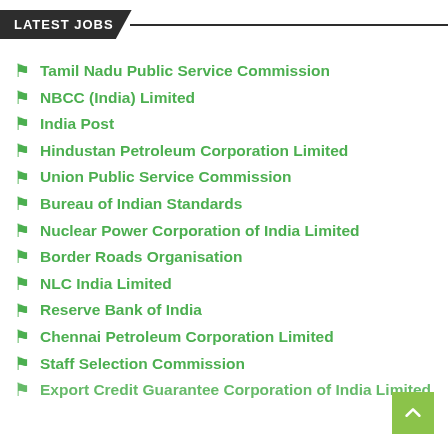LATEST JOBS
Tamil Nadu Public Service Commission
NBCC (India) Limited
India Post
Hindustan Petroleum Corporation Limited
Union Public Service Commission
Bureau of Indian Standards
Nuclear Power Corporation of India Limited
Border Roads Organisation
NLC India Limited
Reserve Bank of India
Chennai Petroleum Corporation Limited
Staff Selection Commission
Export Credit Guarantee Corporation of India Limited